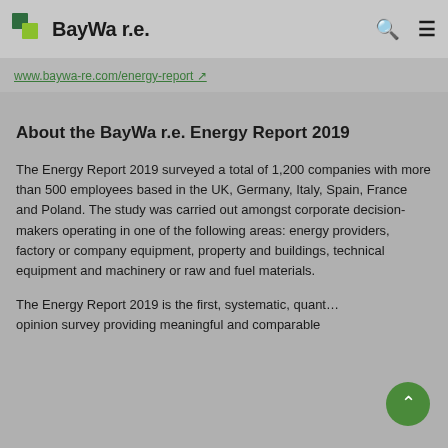BayWa r.e.
www.baywa-re.com/energy-report ↗
About the BayWa r.e. Energy Report 2019
The Energy Report 2019 surveyed a total of 1,200 companies with more than 500 employees based in the UK, Germany, Italy, Spain, France and Poland. The study was carried out amongst corporate decision-makers operating in one of the following areas: energy providers, factory or company equipment, property and buildings, technical equipment and machinery or raw and fuel materials.
The Energy Report 2019 is the first, systematic, quantitative opinion survey providing meaningful and comparable